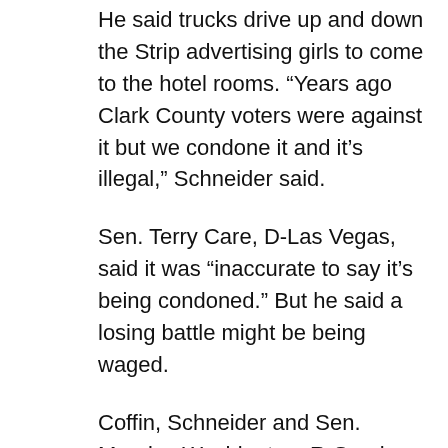He said trucks drive up and down the Strip advertising girls to come to the hotel rooms. “Years ago Clark County voters were against it but we condone it and it’s illegal,” Schneider said.
Sen. Terry Care, D-Las Vegas, said it was “inaccurate to say it’s being condoned.” But he said a losing battle might be being waged.
Coffin, Schneider and Sen. Maurice Washington, R-Sparks, voted for the bill. Opposed were Care and Sens. Mike McGinness, R-Fallon; Maggie Carlton, D-Las Vegas, and Randolph Townsend, R-Reno.
Flint said he was pleased that for the first time since he started representing the industry in 1985 that the industry got a fair hearing and said